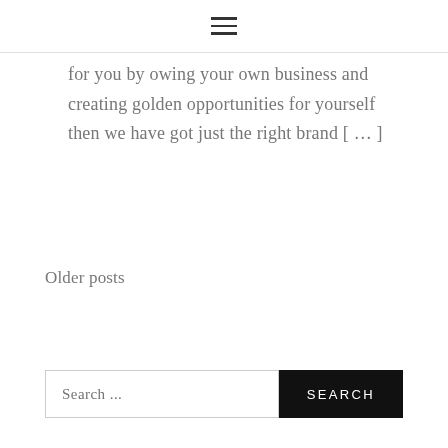≡
for you by owing your own business and creating golden opportunities for yourself then we have got just the right brand [ … ]
Older posts
Search ...